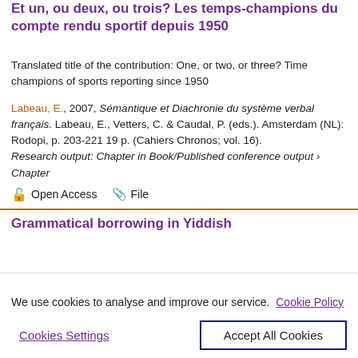Et un, ou deux, ou trois? Les temps-champions du compte rendu sportif depuis 1950
Translated title of the contribution: One, or two, or three? Time champions of sports reporting since 1950
Labeau, E., 2007, Sémantique et Diachronie du système verbal français. Labeau, E., Vetters, C. & Caudal, P. (eds.). Amsterdam (NL): Rodopi, p. 203-221 19 p. (Cahiers Chronos; vol. 16). Research output: Chapter in Book/Published conference output › Chapter
🔓 Open Access   📎 File
Grammatical borrowing in Yiddish
We use cookies to analyse and improve our service. Cookie Policy
Cookies Settings   Accept All Cookies